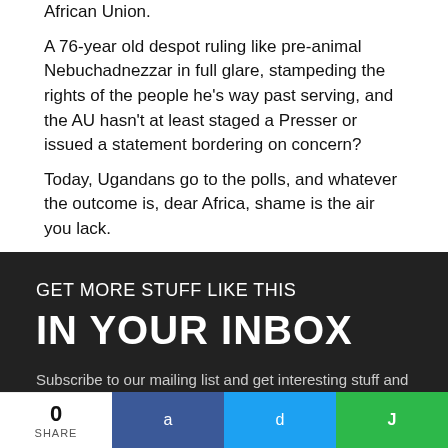African Union.
A 76-year old despot ruling like pre-animal Nebuchadnezzar in full glare, stampeding the rights of the people he's way past serving, and the AU hasn't at least staged a Presser or issued a statement bordering on concern?
Today, Ugandans go to the polls, and whatever the outcome is, dear Africa, shame is the air you lack.
GET MORE STUFF LIKE THIS
IN YOUR INBOX
Subscribe to our mailing list and get interesting stuff and updates to your email inbox.
0 SHARE | a | d | J